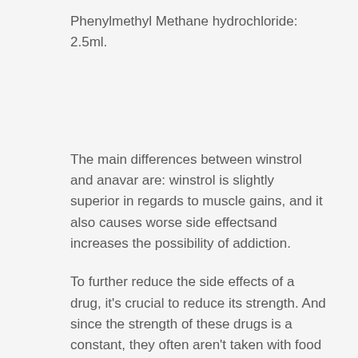Phenylmethyl Methane hydrochloride: 2.5ml.
The main differences between winstrol and anavar are: winstrol is slightly superior in regards to muscle gains, and it also causes worse side effectsand increases the possibility of addiction.
To further reduce the side effects of a drug, it's crucial to reduce its strength. And since the strength of these drugs is a constant, they often aren't taken with food (and this can cause their side effects).
It's also important to learn that drugs will gradually build up in your muscles over time, making them tough or tough to lose. This